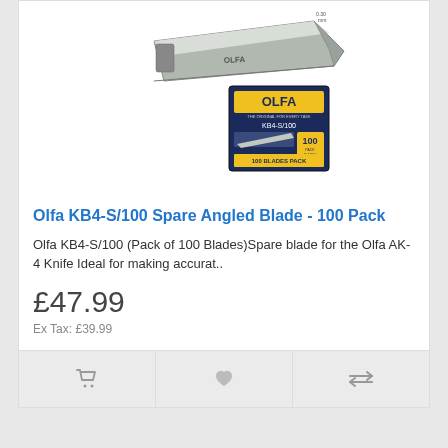[Figure (photo): Product photo of Olfa KB4-S/100 spare angled blade and 100 blades pack packaging]
Olfa KB4-S/100 Spare Angled Blade - 100 Pack
Olfa KB4-S/100 (Pack of 100 Blades)Spare blade for the Olfa AK-4 Knife Ideal for making accurat..
£47.99
Ex Tax: £39.99